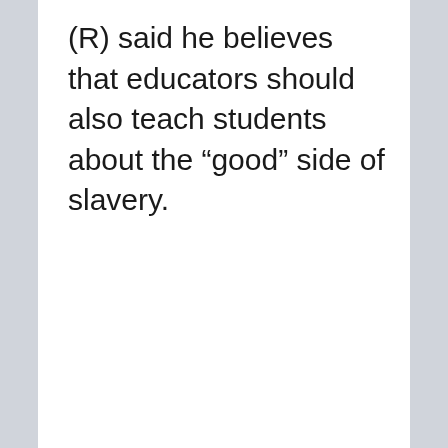(R) said he believes that educators should also teach students about the “good” side of slavery.